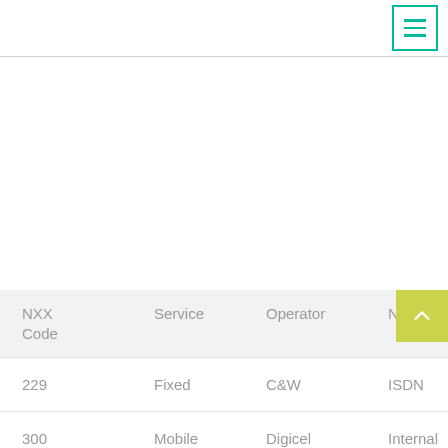Menu
| NXX Code | Service | Operator | Notes |
| --- | --- | --- | --- |
| 229 | Fixed | C&W | ISDN |
| 300 | Mobile | Digicel | Internal Connecti... |